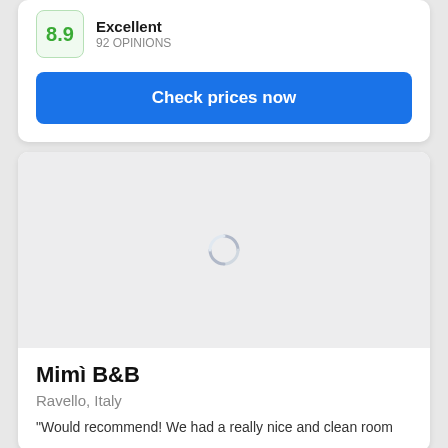8.9
Excellent
92 OPINIONS
Check prices now
[Figure (photo): Loading placeholder with spinner icon for hotel image]
Mimì B&B
Ravello, Italy
"Would recommend! We had a really nice and clean room